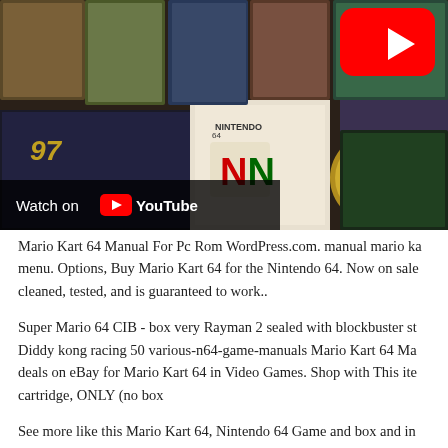[Figure (screenshot): YouTube video thumbnail showing a collection of Nintendo 64 game boxes including GoldenEye 007 and a Players Choice N64 game. A red YouTube play button is visible in the top right. A 'Watch on YouTube' bar with the YouTube logo appears at the bottom left of the image.]
Mario Kart 64 Manual For Pc Rom WordPress.com. manual mario ka menu. Options, Buy Mario Kart 64 for the Nintendo 64. Now on sale cleaned, tested, and is guaranteed to work..
Super Mario 64 CIB - box very Rayman 2 sealed with blockbuster st Diddy kong racing 50 various-n64-game-manuals Mario Kart 64 Ma deals on eBay for Mario Kart 64 in Video Games. Shop with This ite cartridge, ONLY (no box
See more like this Mario Kart 64, Nintendo 64 Game and box and in Mario Kart 64 (V1.1) ROM game for Free Play on favorite Nint